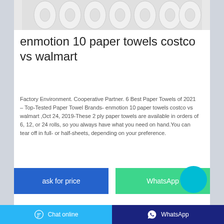[Figure (photo): Product image showing multiple rolls of white paper towels lined up in a row]
enmotion 10 paper towels costco vs walmart
Factory Environment. Cooperative Partner. 6 Best Paper Towels of 2021 – Top-Tested Paper Towel Brands- enmotion 10 paper towels costco vs walmart ,Oct 24, 2019-These 2 ply paper towels are available in orders of 6, 12, or 24 rolls, so you always have what you need on hand.You can tear off in full- or half-sheets, depending on your preference.
[Figure (other): Cyan circular chat/contact button]
ask for price
WhatsApp
Chat online | WhatsApp